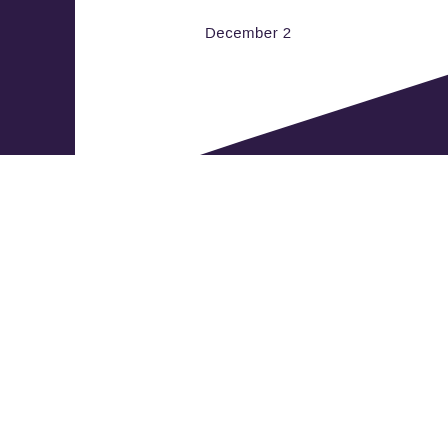[Figure (illustration): Dark purple background with a white angular shape (resembling a folded document or envelope corner) in the upper portion. Partial text 'December 2' visible on the white shape.]
December 2